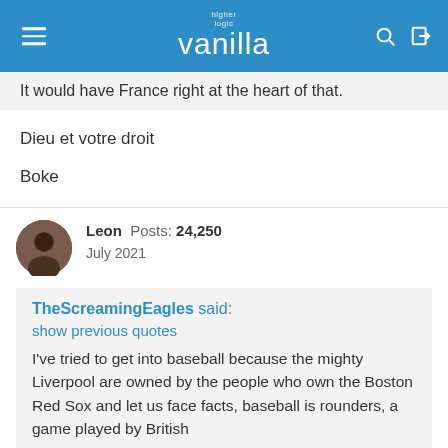higher logic vanilla
It would have France right at the heart of that.
Dieu et votre droit
Boke
Leon  Posts: 24,250
July 2021
TheScreamingEagles said:
show previous quotes
I've tried to get into baseball because the mighty Liverpool are owned by the people who own the Boston Red Sox and let us face facts, baseball is rounders, a game played by British